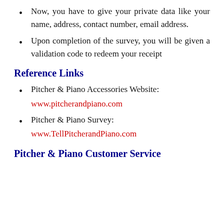Now, you have to give your private data like your name, address, contact number, email address.
Upon completion of the survey, you will be given a validation code to redeem your receipt
Reference Links
Pitcher & Piano Accessories Website: www.pitcherandpiano.com
Pitcher & Piano Survey: www.TellPitcherandPiano.com
Pitcher & Piano Customer Service